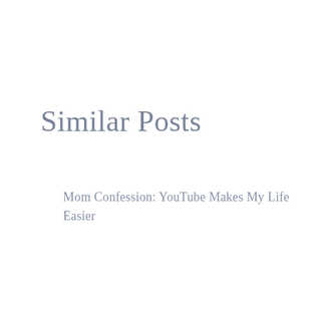Similar Posts
Mom Confession: YouTube Makes My Life Easier